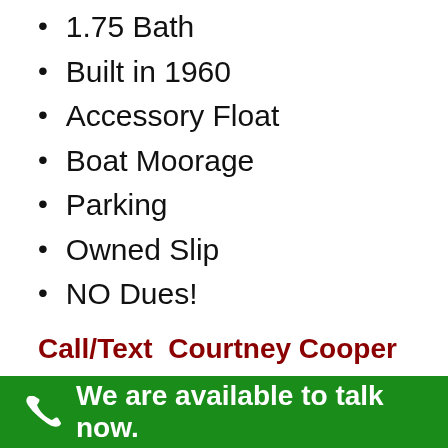1.75 Bath
Built in 1960
Accessory Float
Boat Moorage
Parking
Owned Slip
NO Dues!
Call/Text  Courtney Cooper at 206-850-8841 for more info or for your own private showing.  You can also email us at
We are available to talk now.